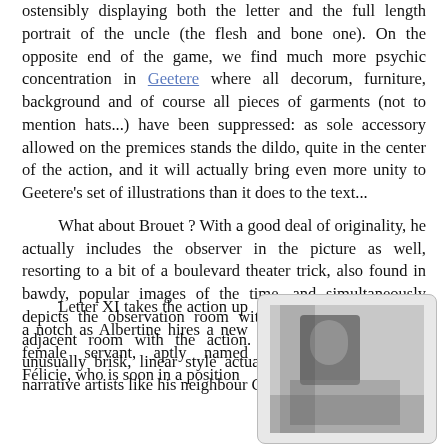ostensibly displaying both the letter and the full length portrait of the uncle (the flesh and bone one). On the opposite end of the game, we find much more psychic concentration in Geetere where all decorum, furniture, background and of course all pieces of garments (not to mention hats...) have been suppressed: as sole accessory allowed on the premices stands the dildo, quite in the center of the action, and it will actually bring even more unity to Geetere's set of illustrations than it does to the text...
What about Brouet ? With a good deal of originality, he actually includes the observer in the picture as well, resorting to a bit of a boulevard theater trick, also found in bawdy, popular images of the time, and simultaneously depicts the observation room with the observer and the adjacent room with the action. This is drawn with a unusually brisk, linear style actually reminiscent of more narrative artists like his neighbour Gus Bofa.
Letter XI takes the action up a notch as Albertine hires a new female servant, aptly named Félicie, who is soon in a position
[Figure (photo): A black and white illustration or photograph, partially visible, showing a figure.]